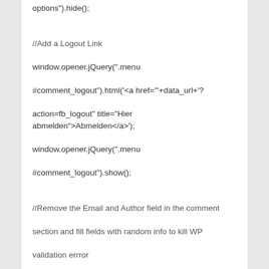options").hide();

//Add a Logout Link
window.opener.jQuery(".menu #comment_logout").html('<a href="'+data_url+'?action=fb_logout" title="Hier abmelden">Abmelden</a>');
window.opener.jQuery(".menu #comment_logout").show();

//Remove the Email and Author field in the comment section and fill fields with random info to kill WP validation errror
//window.opener.jQuery("#attachmentForm #author").val('facebook author');
//window.opener.jQuery("#attachmentForm #email").val('facebook@log.in');
window.opener.jQuery("#attachmentForm #author").hide();
window.opener.jQuery("#attachmentForm #email").hide();
//Show submit button and change Layout
window.opener.jQuery("#submit").show();
window.opener.jQuery("#submit").css('background-